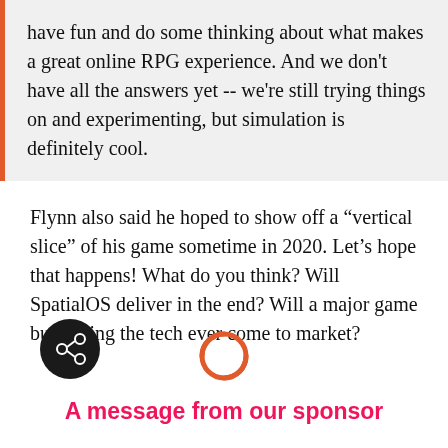have fun and do some thinking about what makes a great online RPG experience. And we don't have all the answers yet -- we're still trying things on and experimenting, but simulation is definitely cool.
Flynn also said he hoped to show off a “vertical slice” of his game sometime in 2020. Let’s hope that happens! What do you think? Will SpatialOS deliver in the end? Will a major game built using the tech ever come to market?
[Figure (other): Share/link icon button (dark circle with share symbol) and a circular link icon, followed by sponsor label]
A message from our sponsor